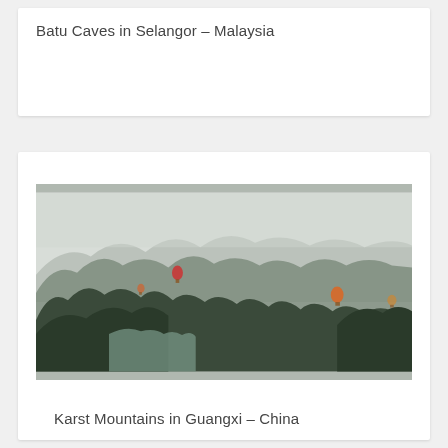Batu Caves in Selangor – Malaysia
[Figure (photo): Aerial/landscape photograph of Karst Mountains in Guangxi, China, showing dramatic limestone peaks in misty conditions with a river winding through, hot air balloons visible in the scene]
Karst Mountains in Guangxi – China